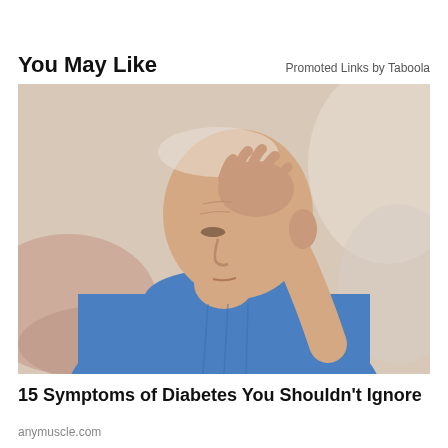You May Like
Promoted Links by Taboola
[Figure (photo): Elderly man in a blue shirt resting his head on his hand, looking distressed, with a blurred warm-toned background.]
15 Symptoms of Diabetes You Shouldn't Ignore
anymuscle.com